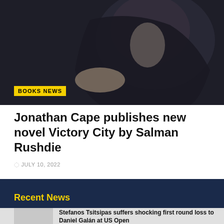[Figure (photo): A person in a dark leather jacket seated against a dark background, partially visible from shoulders down]
BOOKS NEWS
Jonathan Cape publishes new novel Victory City by Salman Rushdie
JULY 10, 2022
Recent News
Stefanos Tsitsipas suffers shocking first round loss to Daniel Galán at US Open